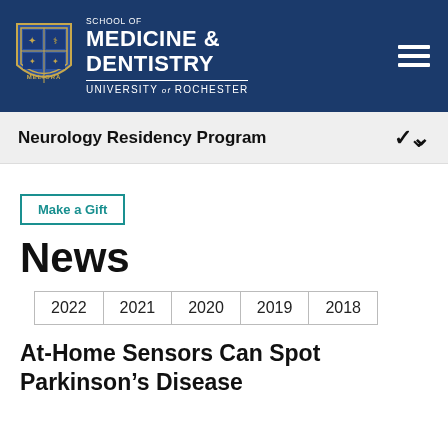School of Medicine & Dentistry — University of Rochester
Neurology Residency Program
Make a Gift
News
2022
2021
2020
2019
2018
At-Home Sensors Can Spot Parkinson's Disease